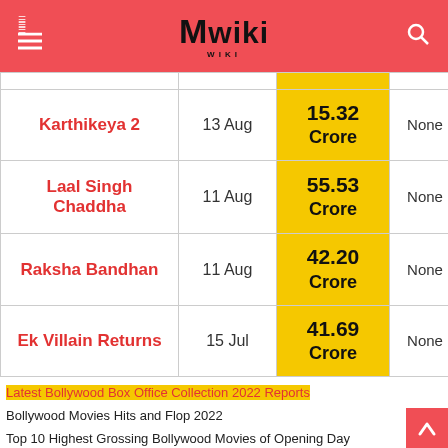Mwiki
| Movie | Release Date | Opening Day Collection | Verdict |
| --- | --- | --- | --- |
| Karthikeya 2 | 13 Aug | 15.32 Crore | None |
| Laal Singh Chaddha | 11 Aug | 55.53 Crore | None |
| Raksha Bandhan | 11 Aug | 42.20 Crore | None |
| Ek Villain Returns | 15 Jul | 41.69 Crore | None |
Latest Bollywood Box Office Collection 2022 Reports
Bollywood Movies Hits and Flop 2022
Top 10 Highest Grossing Bollywood Movies of Opening Day